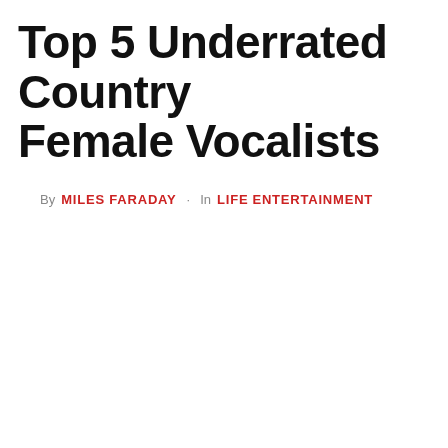Top 5 Underrated Country Female Vocalists
By MILES FARADAY · In LIFE ENTERTAINMENT